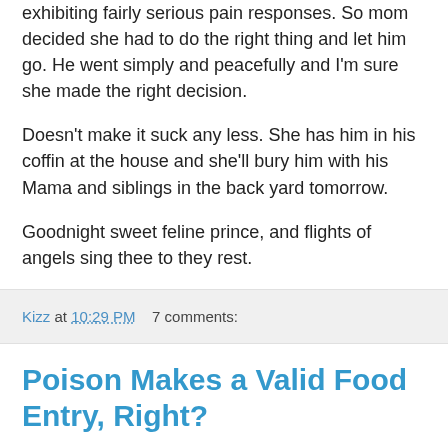exhibiting fairly serious pain responses. So mom decided she had to do the right thing and let him go. He went simply and peacefully and I'm sure she made the right decision.
Doesn't make it suck any less. She has him in his coffin at the house and she'll bury him with his Mama and siblings in the back yard tomorrow.
Goodnight sweet feline prince, and flights of angels sing thee to they rest.
Kizz at 10:29 PM    7 comments:
Poison Makes a Valid Food Entry, Right?
So, I accidentally tried to poison myself with my own cooking. Wow, hope the Supper Club ladies are reading this. Forget the wine, bring emetics! But really, total accident, I won't do it again. I promise.